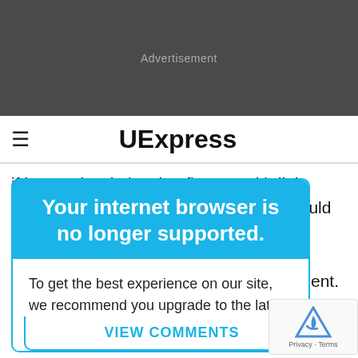[Figure (other): Dark gray advertisement banner area with 'Advertisement' label]
☰  UExpress
if he persists in leaving flowers with little notes, hang onto them because they would be evidence that you … al to have a … oyment.
Your internet browser is no longer supported.
To get the best experience on our site, we recommend you upgrade to the latest version.
VIEW COMMENTS